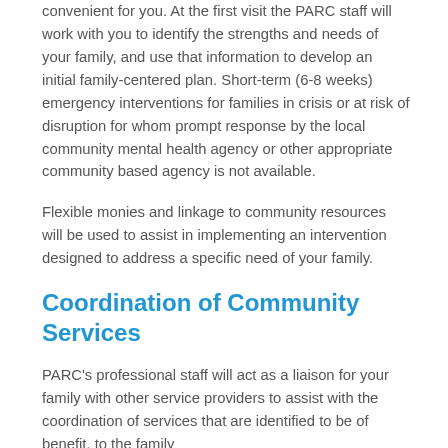convenient for you.  At the first visit the PARC staff will work with you to identify the strengths and needs of your family, and use that information to develop an initial family-centered plan. Short-term (6-8 weeks) emergency interventions for families in crisis or at risk of disruption for whom prompt response by the local community mental health agency or other appropriate community based agency is not available.
Flexible monies and linkage to community resources will be used to assist in implementing an intervention designed to address a specific need of your family.
Coordination of Community Services
PARC's professional staff will act as a liaison for your family with other service providers to assist with the coordination of services that are identified to be of benefit. to the family